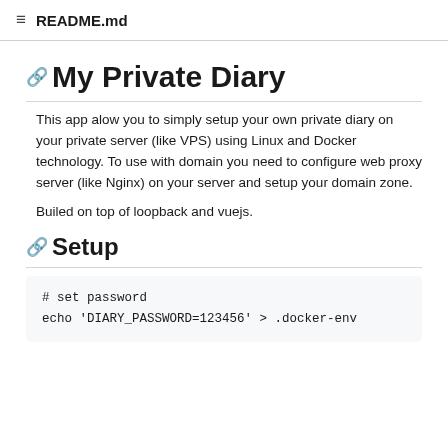README.md
My Private Diary
This app alow you to simply setup your own private diary on your private server (like VPS) using Linux and Docker technology. To use with domain you need to configure web proxy server (like Nginx) on your server and setup your domain zone.
Builed on top of loopback and vuejs.
Setup